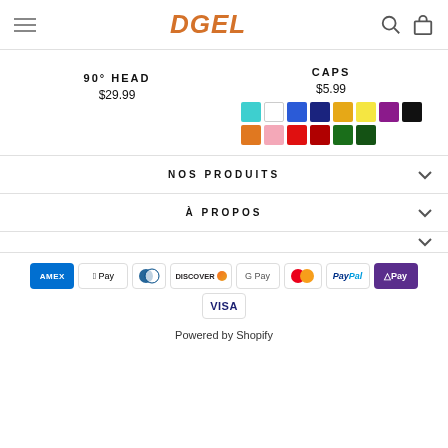DGEL
90° HEAD
$29.99
CAPS
$5.99
[Figure (other): Color swatches grid: row1: cyan, white, blue, dark-blue, amber, yellow, purple, black; row2: orange, pink, red, dark-red, green, dark-green]
NOS PRODUITS
À PROPOS
[Figure (other): Payment method icons: American Express, Apple Pay, Diners Club, Discover, Google Pay, Mastercard, PayPal, OPay, Visa]
Powered by Shopify